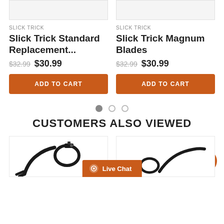[Figure (photo): Product image placeholder for Slick Trick Standard Replacement (top, cropped)]
[Figure (photo): Product image placeholder for Slick Trick Magnum Blades (top, cropped)]
SLICK TRICK
Slick Trick Standard Replacement...
$32.99  $30.99
ADD TO CART
SLICK TRICK
Slick Trick Magnum Blades
$32.99  $30.99
ADD TO CART
CUSTOMERS ALSO VIEWED
[Figure (photo): Product photo bottom left — bow sight accessory, black metal, partially visible]
[Figure (photo): Product photo bottom right — partially visible product]
Live Chat